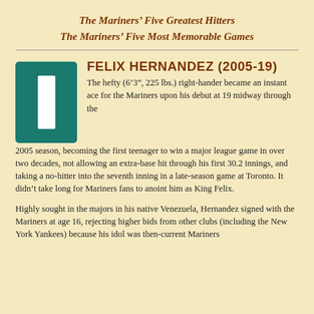The Mariners’ Five Greatest Hitters
The Mariners’ Five Most Memorable Games
[Figure (photo): A teal/green baseball card with a white vertical strip in the center, representing a Felix Hernandez card.]
FELIX HERNANDEZ (2005-19)
The hefty (6’3”, 225 lbs.) right-hander became an instant ace for the Mariners upon his debut at 19 midway through the 2005 season, becoming the first teenager to win a major league game in over two decades, not allowing an extra-base hit through his first 30.2 innings, and taking a no-hitter into the seventh inning in a late-season game at Toronto. It didn’t take long for Mariners fans to anoint him as King Felix.
Highly sought in the majors in his native Venezuela, Hernandez signed with the Mariners at age 16, rejecting higher bids from other clubs (including the New York Yankees) because his idol was then-current Mariners